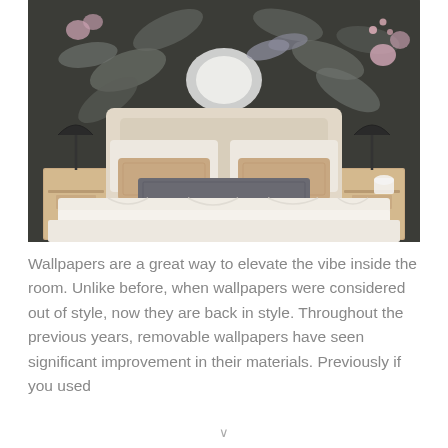[Figure (photo): Bedroom interior with a large bed featuring a beige upholstered headboard, white duvet, tan/copper throw pillows, and a dark accent pillow. The background wall is covered in a dark charcoal floral wallpaper with pink and grey botanical motifs. Wooden nightstands on each side with black arc lamps.]
Wallpapers are a great way to elevate the vibe inside the room. Unlike before, when wallpapers were considered out of style, now they are back in style. Throughout the previous years, removable wallpapers have seen significant improvement in their materials. Previously if you used
v